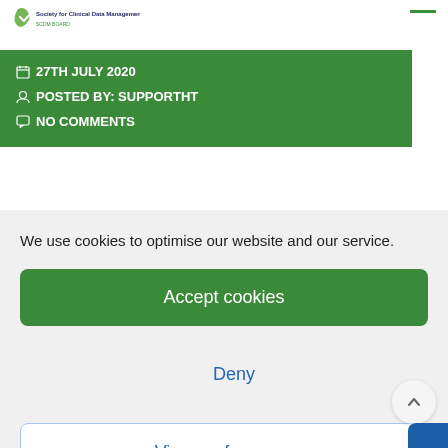[Figure (logo): Society for Clinical Data Management logo at top left]
27th July 2020
POSTED BY: SUPPORTHT
NO COMMENTS
We use cookies to optimise our website and our service.
Accept cookies
Deny
View preferences
Cookie Policy